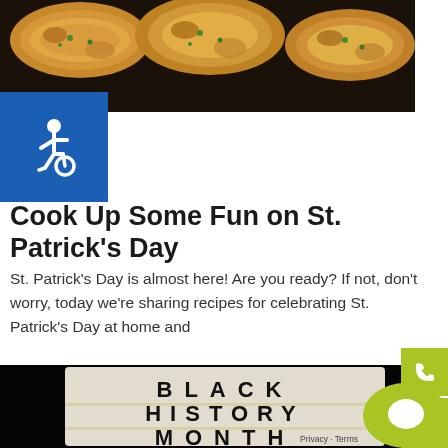[Figure (photo): Top portion of food photo showing golden-brown fried patties/fritters with green bits, on a dark pan]
[Figure (logo): Blue square accessibility icon showing wheelchair symbol]
Cook Up Some Fun on St. Patrick’s Day
St. Patrick’s Day is almost here! Are you ready? If not, don’t worry, today we’re sharing recipes for celebrating St. Patrick’s Day at home and
[Figure (photo): Black background with a lightbox sign reading BLACK HISTORY MONTH in large block letters]